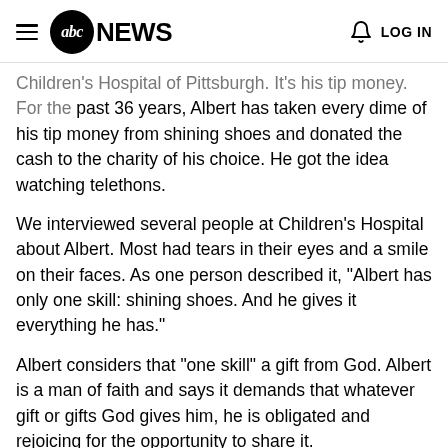abc NEWS  LOG IN
Children's Hospital of Pittsburgh. It's his tip money. For the past 36 years, Albert has taken every dime of his tip money from shining shoes and donated the cash to the charity of his choice. He got the idea watching telethons.
We interviewed several people at Children's Hospital about Albert. Most had tears in their eyes and a smile on their faces. As one person described it, "Albert has only one skill: shining shoes. And he gives it everything he has."
Albert considers that "one skill" a gift from God. Albert is a man of faith and says it demands that whatever gift or gifts God gives him, he is obligated and rejoicing for the opportunity to share it.
Albert's only regret: He is not able to open a large chain of shoeshine shops across the country, which would enable him to give more. He has one shoeshine cart a friend